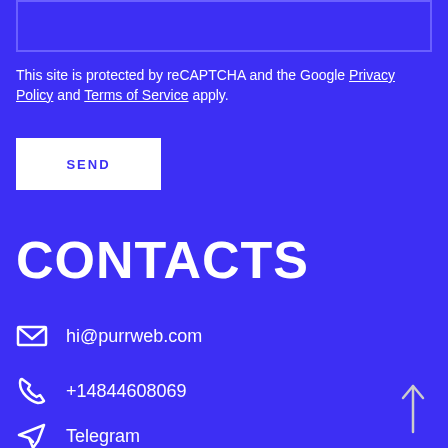[Figure (other): Input text box outline at top of page]
This site is protected by reCAPTCHA and the Google Privacy Policy and Terms of Service apply.
SEND
CONTACTS
hi@purrweb.com
+14844608069
Telegram